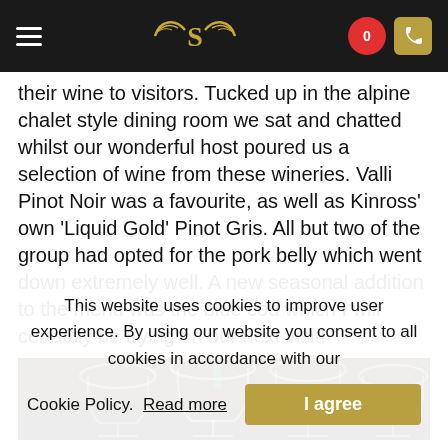Navigation bar with hamburger menu, S-logo, heart icon (0), phone icon
their wine to visitors. Tucked up in the alpine chalet style dining room we sat and chatted whilst our wonderful host poured us a selection of wine from these wineries. Valli Pinot Noir was a favourite, as well as Kinross' own 'Liquid Gold' Pinot Gris. All but two of the group had opted for the pork belly which went down extremely well. A new seasonal addition to the menu was the blue cod which I will certainly be trying on our next visit!
[Figure (photo): Photo of wine glasses on a dark table background]
This website uses cookies to improve user experience. By using our website you consent to all cookies in accordance with our Cookie Policy. Read more | I agree